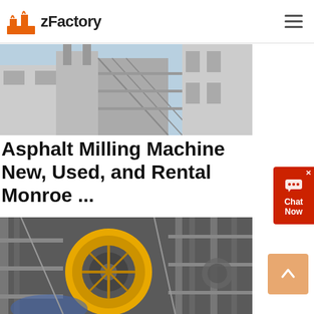zFactory
[Figure (photo): Aerial/side view of an industrial asphalt plant or heavy equipment facility with steel structures, silos, and scaffolding.]
Asphalt Milling Machine New, Used, and Rental Monroe ...
Call your local Monroe Tractor store and choose from our large selection of heavy equipment rentals to get the job done. Read
[Figure (photo): Close-up photo of a large yellow industrial milling drum or rotary machinery component with steel framework in a factory setting.]